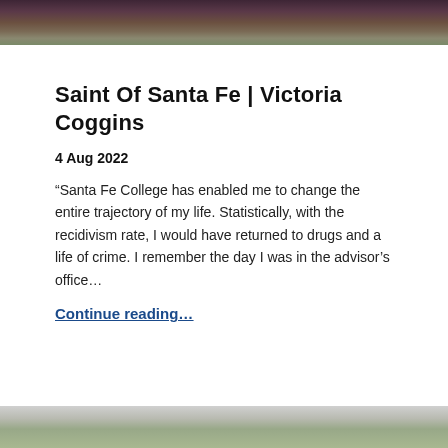[Figure (photo): Top portion of a person outdoors, cropped to show torso area with greenery in background]
Saint Of Santa Fe | Victoria Coggins
4 Aug 2022
“Santa Fe College has enabled me to change the entire trajectory of my life. Statistically, with the recidivism rate, I would have returned to drugs and a life of crime. I remember the day I was in the advisor’s office…
Continue reading…
[Figure (photo): Bottom portion of an outdoor photo, cropped showing ground/greenery]